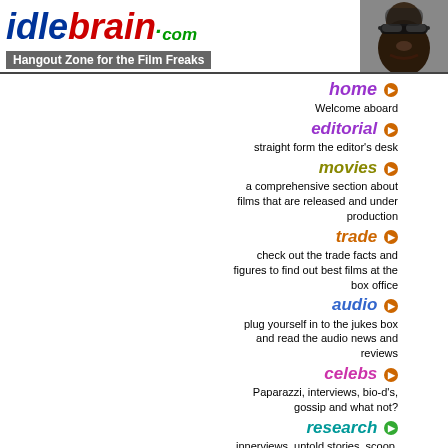[Figure (logo): idlebrain.com logo with tagline Hangout Zone for the Film Freaks and a photo of a man in sunglasses]
home - Welcome aboard
editorial - straight form the editor's desk
movies - a comprehensive section about films that are released and under production
trade - check out the trade facts and figures to find out best films at the box office
audio - plug yourself in to the jukes box and read the audio news and reviews
celebs - Paparazzi, interviews, bio-d's, gossip and what not?
research - innerviews, untold stories, scoop, analysis. the search never ends
nostalgia - date back to the good old days and date with black and white films
usa special - we are lucky enough. you can find what's up with telugu cinema in US